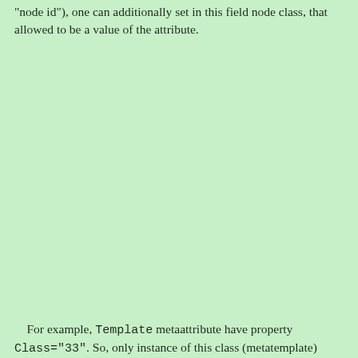"node id"), one can additionally set in this field node class, that allowed to be a value of the attribute.
For example, Template metaattribute have property Class="33". So, only instance of this class (metatemplate)